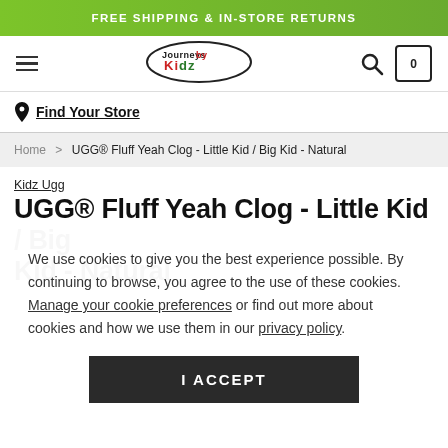FREE SHIPPING & IN-STORE RETURNS
[Figure (logo): Journeys Kidz logo in oval shape with colorful text]
Find Your Store
Home > UGG® Fluff Yeah Clog - Little Kid / Big Kid - Natural
Kidz Ugg
UGG® Fluff Yeah Clog - Little Kid / Big Kid - Natural
We use cookies to give you the best experience possible. By continuing to browse, you agree to the use of these cookies. Manage your cookie preferences or find out more about cookies and how we use them in our privacy policy.
I ACCEPT